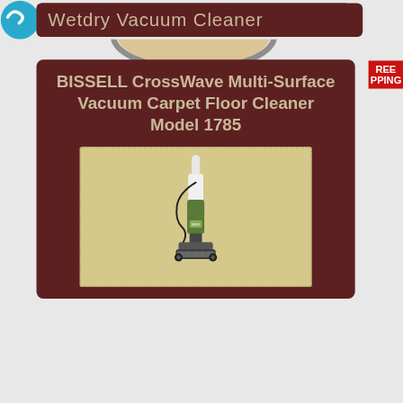Wetdry Vacuum Cleaner
BISSELL CrossWave Multi-Surface Vacuum Carpet Floor Cleaner Model 1785
[Figure (photo): BISSELL CrossWave vacuum cleaner standing upright on a beige/tan background, showing the full unit from above with the handle at top and cleaning head at bottom, cord visible.]
FREE SHIPPING
0.7L ... tank